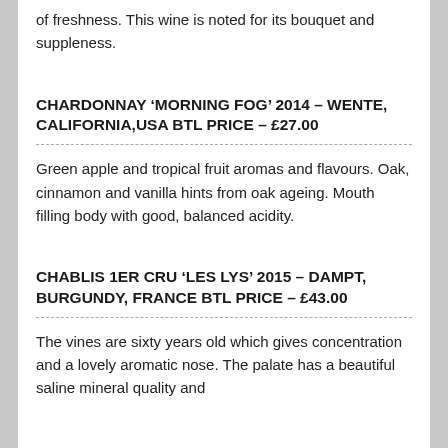of freshness. This wine is noted for its bouquet and suppleness.
CHARDONNAY ‘MORNING FOG’ 2014 – WENTE, CALIFORNIA,USA BTL PRICE – £27.00
Green apple and tropical fruit aromas and flavours. Oak, cinnamon and vanilla hints from oak ageing. Mouth filling body with good, balanced acidity.
CHABLIS 1ER CRU ‘LES LYS’ 2015 – DAMPT, BURGUNDY, FRANCE BTL PRICE – £43.00
The vines are sixty years old which gives concentration and a lovely aromatic nose. The palate has a beautiful saline mineral quality and